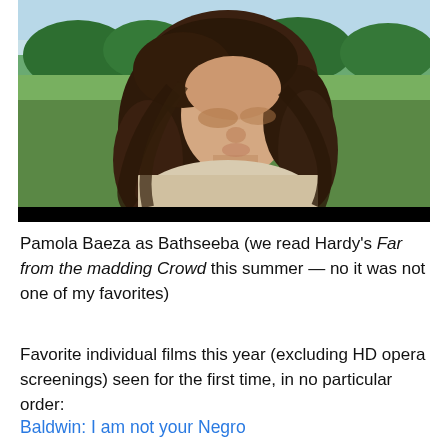[Figure (photo): A woman with long dark curly hair looking downward, wearing a light-colored blouse. Green trees and rolling hills visible in the background under a pale sky. Film still.]
Pamola Baeza as Bathseeba (we read Hardy's Far from the madding Crowd this summer — no it was not one of my favorites)
Favorite individual films this year (excluding HD opera screenings) seen for the first time, in no particular order:
Baldwin: I am not your Negro